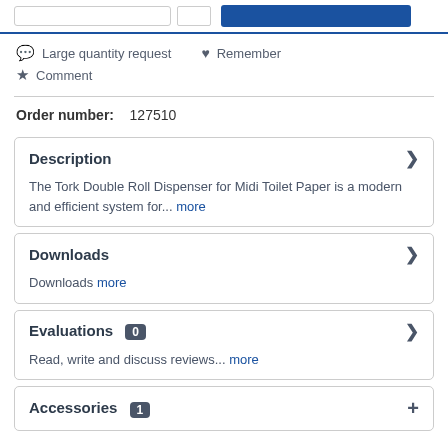Large quantity request
Remember
Comment
Order number: 127510
Description
The Tork Double Roll Dispenser for Midi Toilet Paper is a modern and efficient system for... more
Downloads
Downloads more
Evaluations 0
Read, write and discuss reviews... more
Accessories 1